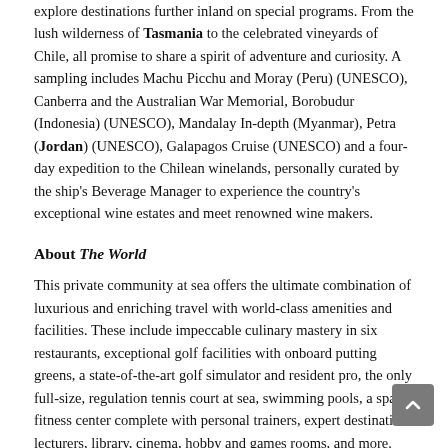explore destinations further inland on special programs. From the lush wilderness of Tasmania to the celebrated vineyards of Chile, all promise to share a spirit of adventure and curiosity. A sampling includes Machu Picchu and Moray (Peru) (UNESCO), Canberra and the Australian War Memorial, Borobudur (Indonesia) (UNESCO), Mandalay In-depth (Myanmar), Petra (Jordan) (UNESCO), Galapagos Cruise (UNESCO) and a four-day expedition to the Chilean winelands, personally curated by the ship's Beverage Manager to experience the country's exceptional wine estates and meet renowned wine makers.
About The World
This private community at sea offers the ultimate combination of luxurious and enriching travel with world-class amenities and facilities. These include impeccable culinary mastery in six restaurants, exceptional golf facilities with onboard putting greens, a state-of-the-art golf simulator and resident pro, the only full-size, regulation tennis court at sea, swimming pools, a spa, a fitness center complete with personal trainers, expert destination lecturers, library, cinema, hobby and games rooms, and more.